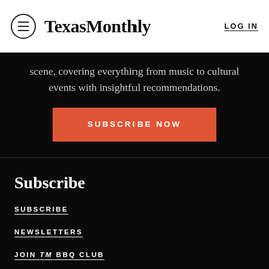TexasMonthly  LOG IN
scene, covering everything from music to cultural events with insightful recommendations.
SUBSCRIBE NOW
Subscribe
SUBSCRIBE
NEWSLETTERS
JOIN TM BBQ CLUB
TM BBQ FEST